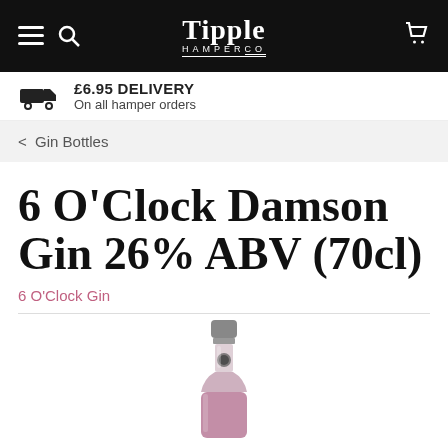Tipple Hamper Co
£6.95 DELIVERY On all hamper orders
< Gin Bottles
6 O'Clock Damson Gin 26% ABV (70cl)
6 O'Clock Gin
[Figure (photo): Top portion of a bottle of 6 O'Clock Damson Gin, showing the silver/grey cap and neck of a pink/rose-coloured gin bottle with a circular embossed label]